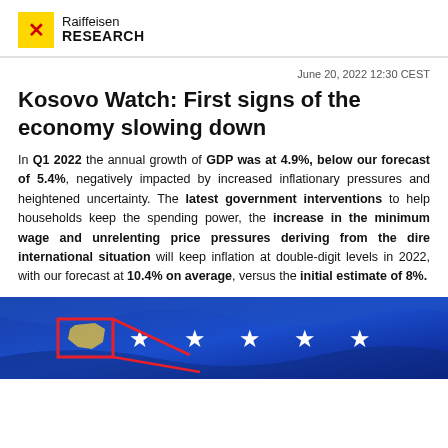Raiffeisen RESEARCH
June 20, 2022 12:30 CEST
Kosovo Watch: First signs of the economy slowing down
In Q1 2022 the annual growth of GDP was at 4.9%, below our forecast of 5.4%, negatively impacted by increased inflationary pressures and heightened uncertainty. The latest government interventions to help households keep the spending power, the increase in the minimum wage and unrelenting price pressures deriving from the dire international situation will keep inflation at double-digit levels in 2022, with our forecast at 10.4% on average, versus the initial estimate of 8%.
[Figure (photo): Kosovo flag with blue background and white stars, partially obscured by red graphic elements]